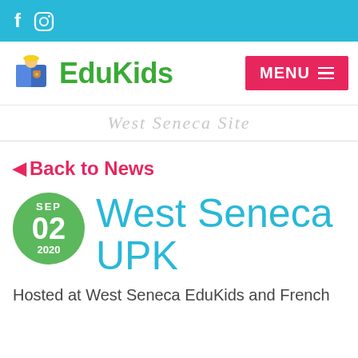f [instagram icon]
[Figure (logo): EduKids logo with cartoon child reading a book and green EduKids text, plus MENU button]
West Seneca Site
◄ Back to News
West Seneca UPK
Hosted at West Seneca EduKids and French